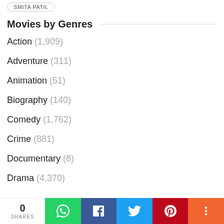SMITA PATIL
Movies by Genres
Action (1,909)
Adventure (311)
Animation (51)
Biography (140)
Comedy (1,762)
Crime (881)
Documentary (8)
Drama (4,370)
0 SHARES